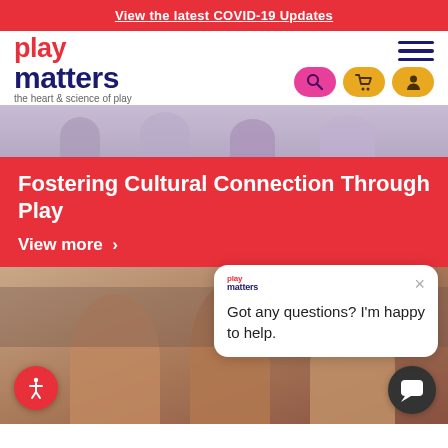View the latest COVID-19 Updates
[Figure (logo): Play Matters logo — 'play' in red/pink, 'matters' in dark navy, tagline 'the heart & science of play']
[Figure (photo): People seated in a hall, blurred background — top portion of hero image]
Fostering Cultural Connection Through Play
View more >
[Figure (screenshot): Chat popup with Play Matters logo, close button, and message: Got any questions? I'm happy to help.]
[Figure (photo): Aboriginal children with face paint dancing at a cultural event, audience in background]